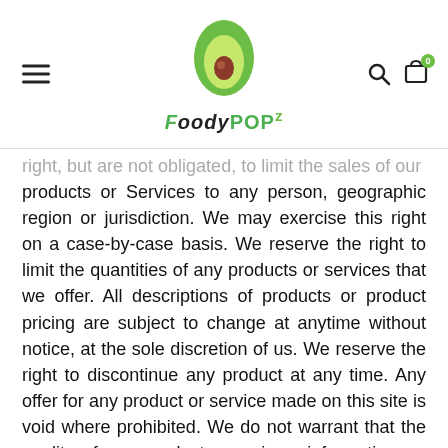FoodyPOPz logo with navigation
right, but are not obligated, to limit the sales of our products or Services to any person, geographic region or jurisdiction. We may exercise this right on a case-by-case basis. We reserve the right to limit the quantities of any products or services that we offer. All descriptions of products or product pricing are subject to change at anytime without notice, at the sole discretion of us. We reserve the right to discontinue any product at any time. Any offer for any product or service made on this site is void where prohibited. We do not warrant that the quality of any products, services, information, or other material purchased or obtained by you will meet your expectations, or that any errors in the